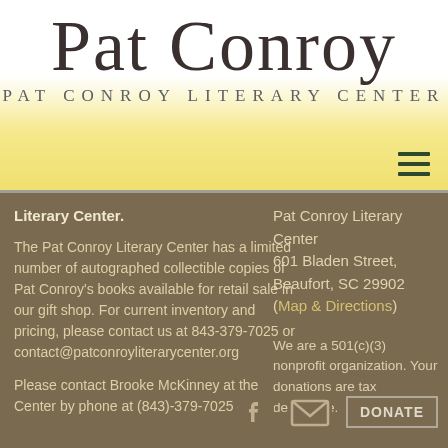Pat Conroy Literary Center
[Figure (logo): Pat Conroy signature in cursive script above the text PAT CONROY LITERARY CENTER]
Literary Center.
The Pat Conroy Literary Center has a limited number of autographed collectible copies of Pat Conroy's books available for retail sale in our gift shop. For current inventory and pricing, please contact us at 843-379-7025 or contact@patconroyliterarycenter.org
Please contact Brooke McKinney at the Center by phone at (843)-379-7025 or
Pat Conroy Literary Center
601 Bladen Street,
Beaufort, SC 29902
(Map & Directions)
We are a 501(c)(3) nonprofit organization. Your donations are tax deductible.